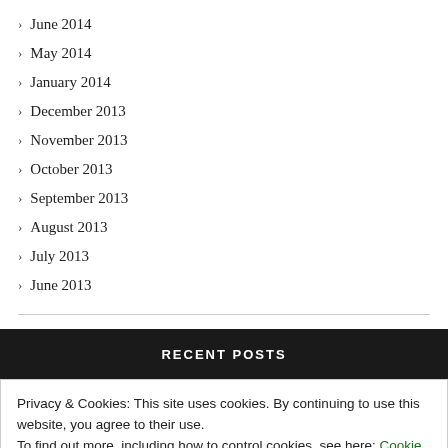June 2014
May 2014
January 2014
December 2013
November 2013
October 2013
September 2013
August 2013
July 2013
June 2013
RECENT POSTS
Privacy & Cookies: This site uses cookies. By continuing to use this website, you agree to their use.
To find out more, including how to control cookies, see here: Cookie Policy
Close and accept
BACK TO THE HOME!